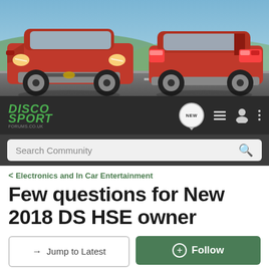[Figure (photo): Hero image showing two red Land Rover Discovery Sport SUVs driving on a road, one seen from the front-left and one from the rear-right, with hills in the background.]
DISCO SPORT FORUMS.CO.UK
Search Community
< Electronics and In Car Entertainment
Few questions for New 2018 DS HSE owner
→ Jump to Latest
+ Follow
1 - 9 of 9 Posts